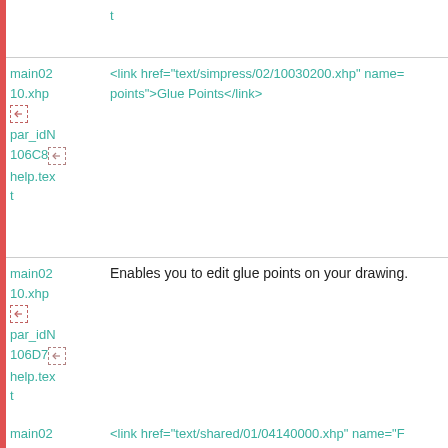t
main0210.xhp  <link href="text/simpress/02/10030200.xhp" name=...10.xhp points">Glue Points</link>  par_idN106C8 help.text
main0210.xhp  Enables you to edit glue points on your drawing.  par_idN106D7 help.text
main0210.xhp  <link href="text/shared/01/04140000.xhp" name="F File">From File</link>